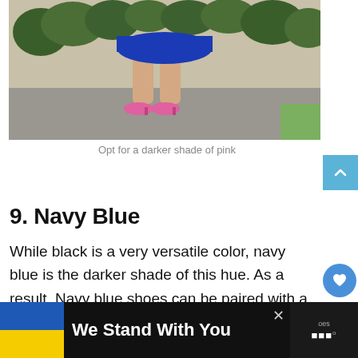[Figure (photo): Lower half of a woman wearing a blue dress and pink heels, standing on a sidewalk with green ivy hedge in the background]
Opt for a darker shade of pink
9. Navy Blue
While black is a very versatile color, navy blue is the darker shade of this hue. As a result, Navy blue shoes can be paired with a navy blue dress without a problem. The
[Figure (infographic): Bottom advertisement banner: Ukrainian flag colors with text 'We Stand With You']